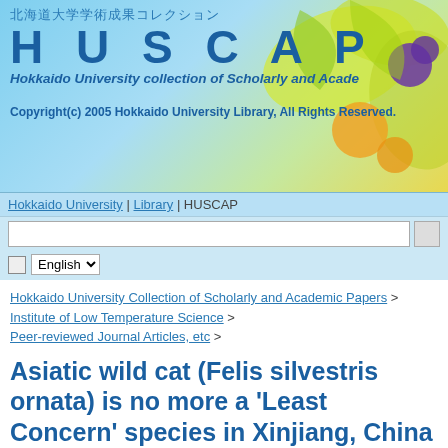[Figure (screenshot): HUSCAP banner with Japanese text, colorful decorative background with leaves and fruits, showing 'HUSCAP' logo and 'Hokkaido University collection of Scholarly and Academic Papers' subtitle with copyright notice]
Hokkaido University | Library | HUSCAP
Hokkaido University Collection of Scholarly and Academic Papers > Institute of Low Temperature Science > Peer-reviewed Journal Articles, etc >
Asiatic wild cat (Felis silvestris ornata) is no more a 'Least Concern' species in Xinjiang, China
Files in This Item:
Issue 2 Article 4[1].pdf   1.54 MB PDF   View/Open
Please use this identifier to cite or link to this item: http://hdl.handle.net/2115/49688